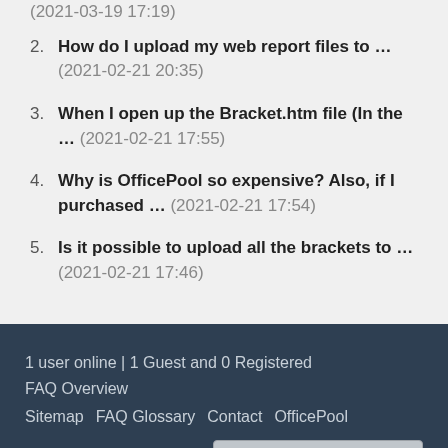(2021-03-19 17:19)
2. How do I upload my web report files to … (2021-02-21 20:35)
3. When I open up the Bracket.htm file (In the … (2021-02-21 17:55)
4. Why is OfficePool so expensive? Also, if I purchased … (2021-02-21 17:54)
5. Is it possible to upload all the brackets to … (2021-02-21 17:46)
1 user online | 1 Guest and 0 Registered   FAQ Overview   Sitemap   FAQ Glossary   Contact   OfficePool   English